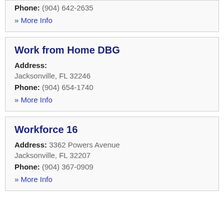Phone: (904) 642-2635
» More Info
Work from Home DBG
Address: Jacksonville, FL 32246
Phone: (904) 654-1740
» More Info
Workforce 16
Address: 3362 Powers Avenue Jacksonville, FL 32207
Phone: (904) 367-0909
» More Info